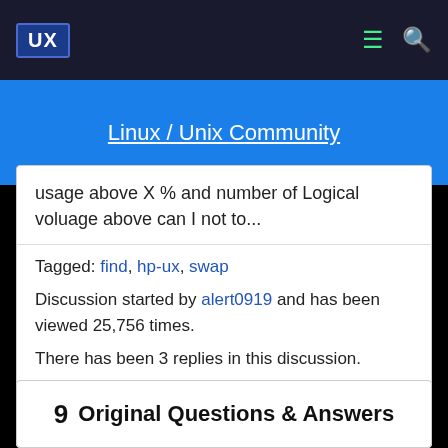UX [logo] [hamburger icon] [search icon]
Linux / Unix Community
usage above X % and number of Logical voluage above can I not to...
Tagged: find, hp-ux, swap
Discussion started by alert0919 and has been viewed 25,756 times.
There has been 3 replies in this discussion.
The last reply was by vbe.
9  Original Questions & Answers